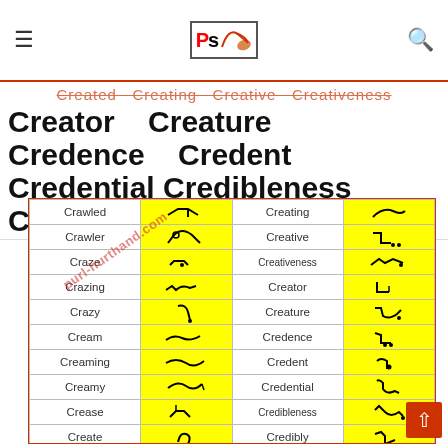Ps [logo with pen icon]
Created  Creating  Creative  Creativeness
Creator  Creature  Credence  Credent
Credential  Credibleness  Credibly  Creditable
| Word | Symbol | Word | Symbol |
| --- | --- | --- | --- |
| Crawled | [symbol] | Creating | [symbol] |
| Crawler | [symbol] | Creative | [symbol] |
| Craze | [symbol] | Creativeness | [symbol] |
| Crazing | [symbol] | Creator | [symbol] |
| Crazy | [symbol] | Creature | [symbol] |
| Cream | [symbol] | Credence | [symbol] |
| Creaming | [symbol] | Credent | [symbol] |
| Creamy | [symbol] | Credential | [symbol] |
| Crease | [symbol] | Credibleness | [symbol] |
| Create | [symbol] | Credibly | [symbol] |